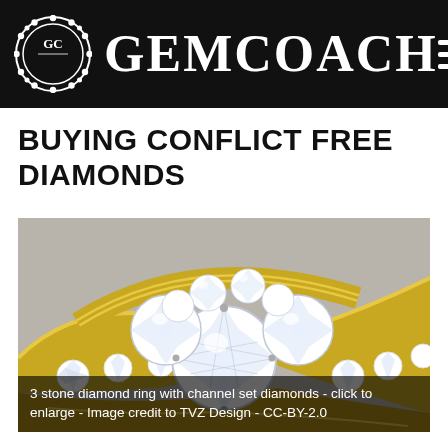GEMCOACH
BUYING CONFLICT FREE DIAMONDS
[Figure (photo): 3 stone diamond ring with channel set diamonds — a yellow gold bypass-style ring featuring three round brilliant-cut diamonds in the center and channel-set diamonds along the band shoulders.]
3 stone diamond ring with channel set diamonds - click to enlarge - Image credit to TVZ Design - CC-BY-2.0